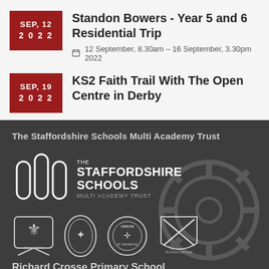Standon Bowers - Year 5 and 6 Residential Trip
12 September, 8.30am – 16 September, 3.30pm 2022
KS2 Faith Trail With The Open Centre in Derby
The Staffordshire Schools Multi Academy Trust
[Figure (logo): The Staffordshire Schools Multi Academy Trust logo with three white pillars and text]
[Figure (logo): Four school badges/crests: St. Mary's, an oval badge, Anson Gt. Haywood, and Richard Crosse]
Richard Crosse Primary School